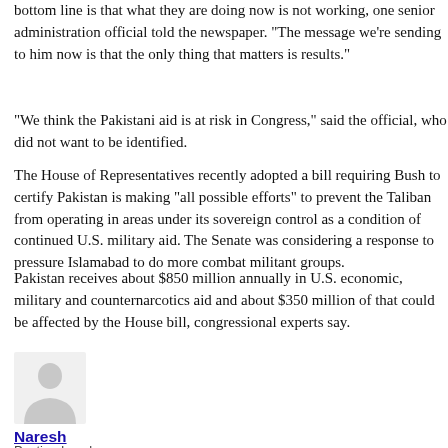bottom line is that what they are doing now is not working, one senior administration official told the newspaper. "The message we're sending to him now is that the only thing that matters is results."
"We think the Pakistani aid is at risk in Congress," said the official, who did not want to be identified.
The House of Representatives recently adopted a bill requiring Bush to certify Pakistan is making "all possible efforts" to prevent the Taliban from operating in areas under its sovereign control as a condition of continued U.S. military aid. The Senate was considering a response to pressure Islamabad to do more combat militant groups.
Pakistan receives about $850 million annually in U.S. economic, military and counternarcotics aid and about $350 million of that could be affected by the House bill, congressional experts say.
Under Musharraf, Pakistan became a key ally after the September 11 attacks by withdrawing its support for the Taliban government, sharing intelligence with U.S. officials and rounding up suspected Islamic militants.<!--QuoteEnd--><!--QuoteEEnd-->
[Figure (illustration): Generic avatar silhouette icon of a person]
Naresh
Posting Level: